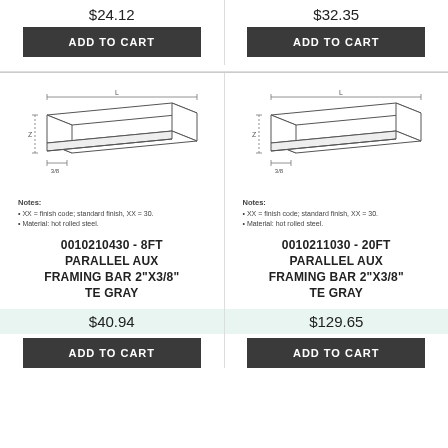$24.12
ADD TO CART
$32.35
ADD TO CART
[Figure (engineering-diagram): Technical line drawing of a parallel aux framing bar showing an L-shaped steel bar in perspective with dimension labels Z, L, and 3/8. Notes: XX = finish code; standard finish, XX = 30. Material: hot rolled steel.]
Notes:
• XX = finish code; standard finish, XX = 30.
• Material: hot rolled steel.
[Figure (engineering-diagram): Technical line drawing of a parallel aux framing bar showing an L-shaped steel bar in perspective with dimension labels Z, L, and 3/8. Notes: XX = finish code; standard finish, XX = 30. Material: hot rolled steel.]
Notes:
• XX = finish code; standard finish, XX = 30.
• Material: hot rolled steel.
0010210430 - 8FT PARALLEL AUX FRAMING BAR 2"X3/8" TE GRAY
0010211030 - 20FT PARALLEL AUX FRAMING BAR 2"X3/8" TE GRAY
$40.94
ADD TO CART
$129.65
ADD TO CART